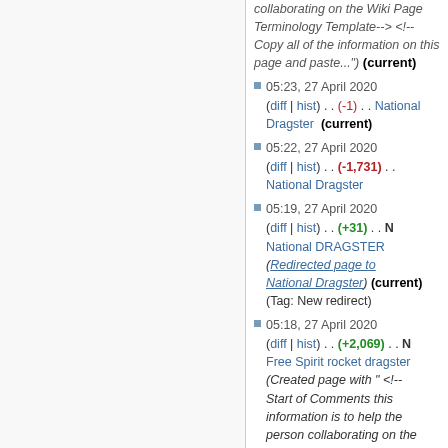collaborating on the Wiki Page Terminology Template--> <!--Copy all of the information on this page and paste...") (current)
05:23, 27 April 2020 (diff | hist) . . (-1) . . National Dragster (current)
05:22, 27 April 2020 (diff | hist) . . (-1,731) . . National Dragster
05:19, 27 April 2020 (diff | hist) . . (+31) . . N National DRAGSTER (Redirected page to National Dragster) (current) (Tag: New redirect)
05:18, 27 April 2020 (diff | hist) . . (+2,069) . . N Free Spirit rocket dragster (Created page with " <!-- Start of Comments this information is to help the person collaborating on the